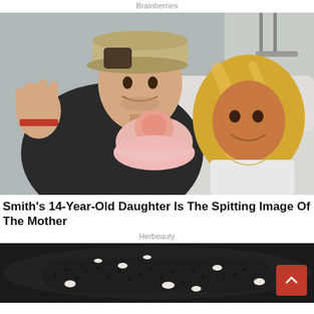Brainberries
[Figure (photo): A young man wearing a tan cap and black t-shirt and a tanned blonde woman lying in a hospital bed, both holding a newborn baby wrapped in pink.]
Smith's 14-Year-Old Daughter Is The Spitting Image Of The Mother
Herbeauty
[Figure (photo): Close-up of black seeds/spices in a dark pan or bowl with white pieces mixed in.]